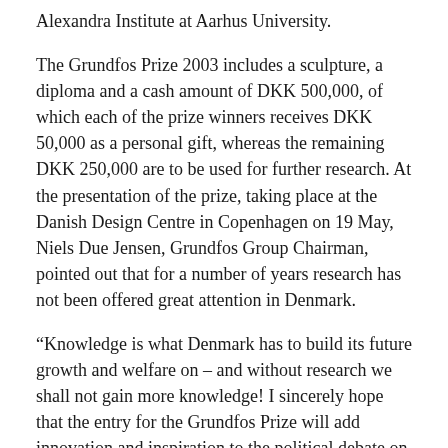Alexandra Institute at Aarhus University.
The Grundfos Prize 2003 includes a sculpture, a diploma and a cash amount of DKK 500,000, of which each of the prize winners receives DKK 50,000 as a personal gift, whereas the remaining DKK 250,000 are to be used for further research. At the presentation of the prize, taking place at the Danish Design Centre in Copenhagen on 19 May, Niels Due Jensen, Grundfos Group Chairman, pointed out that for a number of years research has not been offered great attention in Denmark.
“Knowledge is what Denmark has to build its future growth and welfare on – and without research we shall not gain more knowledge! I sincerely hope that the entry for the Grundfos Prize will add innovation and inspiration to the political debate on the conditions of research in Denmark – as well as the necessary decisions on this important area,” said Mr. Due Jensen.